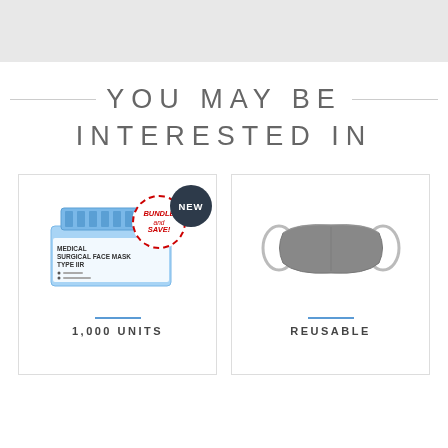YOU MAY BE INTERESTED IN
[Figure (photo): Product card showing a box of Medical Surgical Face Mask Type IIR with a 'Bundle and Save' circular badge and a dark circular 'NEW' badge]
1,000 UNITS
[Figure (photo): Product card showing a reusable grey fabric face mask with ear loops]
REUSABLE